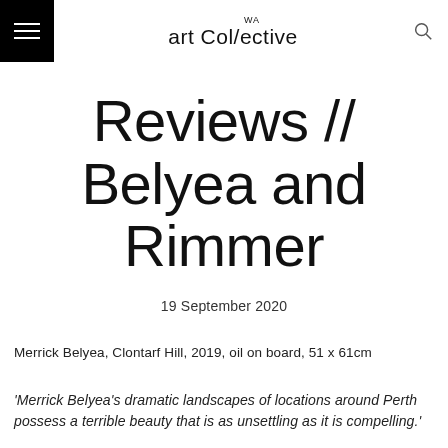art Collective WA
Reviews // Belyea and Rimmer
19 September 2020
Merrick Belyea, Clontarf Hill, 2019, oil on board, 51 x 61cm
'Merrick Belyea's dramatic landscapes of locations around Perth possess a terrible beauty that is as unsettling as it is compelling.'